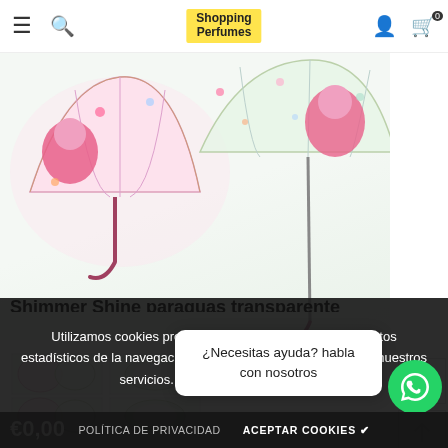≡  🔍  Shopping Perfumes  👤  🛒 0
[Figure (photo): Two Shimmer and Shine transparent children's umbrellas shown open, with floral and character print pattern. Pink handles. Main product shot showing both front and back.]
[Figure (photo): Four small thumbnail images of the Shimmer Shine transparent umbrella from different angles.]
Shimmer Shine paraguas transparente
Utilizamos cookies propias y de terceros para obtener datos estadísticos de la navegación de nuestros usuarios y mejorar nuestros servicios. Si a... an... consideramo...
¿Necesitas ayuda? habla con nosotros
€0,00
POLÍTICA DE PRIVACIDAD   ACEPTAR COOKIES ✔